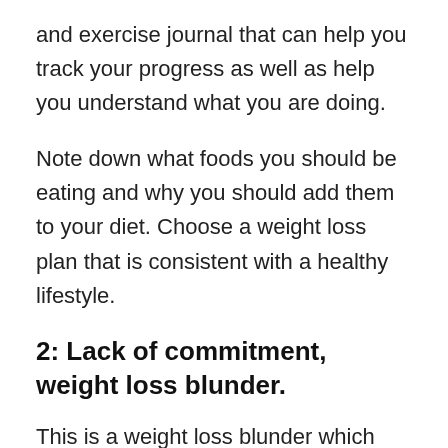and exercise journal that can help you track your progress as well as help you understand what you are doing.
Note down what foods you should be eating and why you should add them to your diet. Choose a weight loss plan that is consistent with a healthy lifestyle.
2: Lack of commitment, weight loss blunder.
This is a weight loss blunder which most people make. Weight loss requires a long